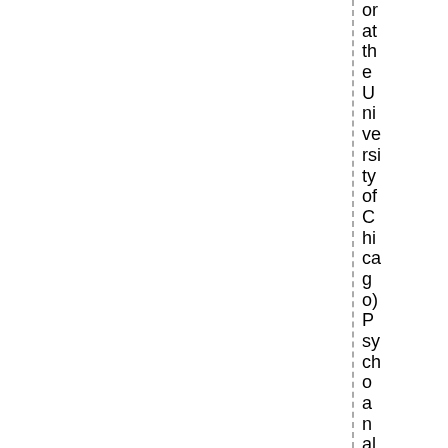or at the University of Chicago) Psychoanalytic Approaches